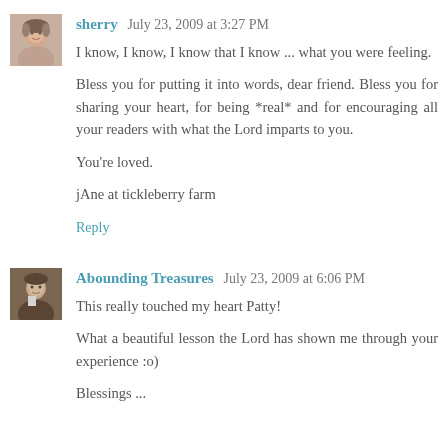sherry  July 23, 2009 at 3:27 PM
I know, I know, I know that I know ... what you were feeling.

Bless you for putting it into words, dear friend. Bless you for sharing your heart, for being *real* and for encouraging all your readers with what the Lord imparts to you.

You're loved.

jAne at tickleberry farm
Reply
Abounding Treasures  July 23, 2009 at 6:06 PM
This really touched my heart Patty!

What a beautiful lesson the Lord has shown me through your experience :o)

Blessings ...